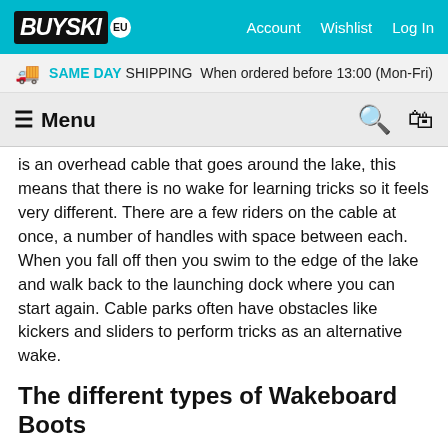BUYSKI EU — Account  Wishlist  Log In
SAME DAY SHIPPING When ordered before 13:00 (Mon-Fri)
≡ Menu
is an overhead cable that goes around the lake, this means that there is no wake for learning tricks so it feels very different. There are a few riders on the cable at once, a number of handles with space between each. When you fall off then you swim to the edge of the lake and walk back to the launching dock where you can start again. Cable parks often have obstacles like kickers and sliders to perform tricks as an alternative wake.
The different types of Wakeboard Boots
Wakeboard boots have many features you will want to consider when choosing a new boot. For the best fit, many riders choose to have their own set of boots even if they share a wakeboard. Remember, boots may easily be swapped out on the boot between